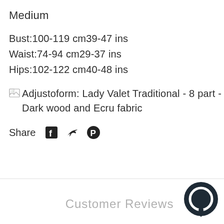Medium
Bust:100-119 cm39-47 ins
Waist:74-94 cm29-37 ins
Hips:102-122 cm40-48 ins
[Figure (other): Broken image icon followed by alt text: Adjustoform: Lady Valet Traditional - 8 part - Dark wood and Ecru fabric]
Share (Facebook, Twitter, Pinterest icons)
Customer Reviews